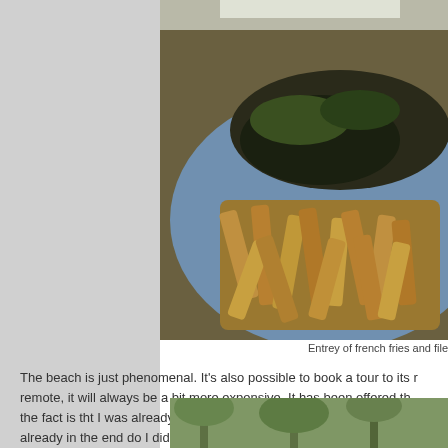[Figure (photo): Photo of a plate of french fries and other food items on a blue plate, taken outdoors in bright sunlight]
Entrey of french fries and file
The beach is just phenomenal. It's also possible to book a tour to its r... remote, it will always be a bit more expensive. It has been offered th... the fact is tht I was already at the end of my trip, and I had done the... already in the end do I didn't do the tour in the pools.
[Figure (photo): Partial photo of tropical trees/palms at bottom of page]